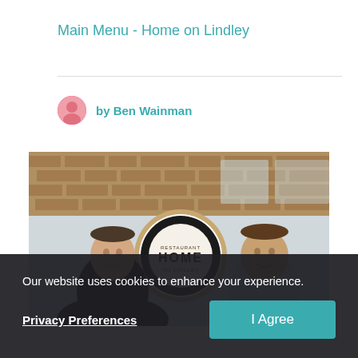Main Menu - Home on Lindley
by Ben Wainman
[Figure (photo): Two men smiling and facing each other in front of a circular 'HOME on Lindley' logo sign on a glass storefront with exposed brick in the background.]
Our website uses cookies to enhance your experience.
Privacy Preferences
I Agree